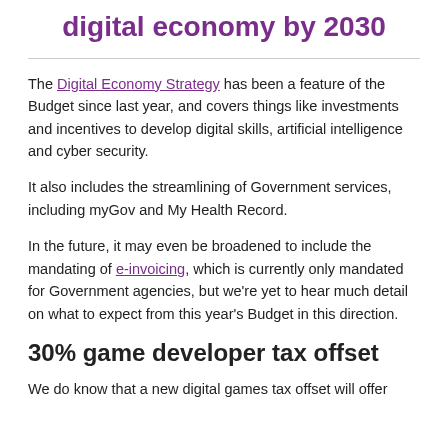digital economy by 2030
The Digital Economy Strategy has been a feature of the Budget since last year, and covers things like investments and incentives to develop digital skills, artificial intelligence and cyber security.
It also includes the streamlining of Government services, including myGov and My Health Record.
In the future, it may even be broadened to include the mandating of e-invoicing, which is currently only mandated for Government agencies, but we're yet to hear much detail on what to expect from this year's Budget in this direction.
30% game developer tax offset
We do know that a new digital games tax offset will offer